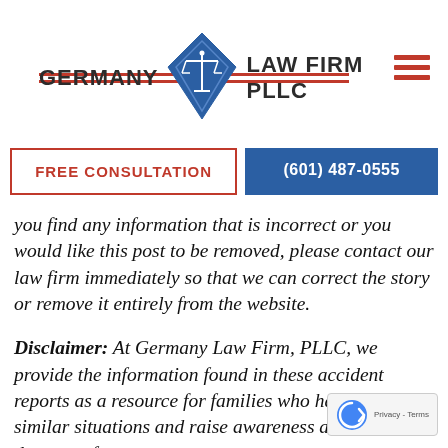[Figure (logo): Germany Law Firm PLLC logo with blue diamond/scales icon and red horizontal lines]
FREE CONSULTATION
(601) 487-0555
you find any information that is incorrect or you would like this post to be removed, please contact our law firm immediately so that we can correct the story or remove it entirely from the website.
Disclaimer: At Germany Law Firm, PLLC, we provide the information found in these accident reports as a resource for families who have been in similar situations and raise awareness about the dangers of driving. We would be obligated to remove the